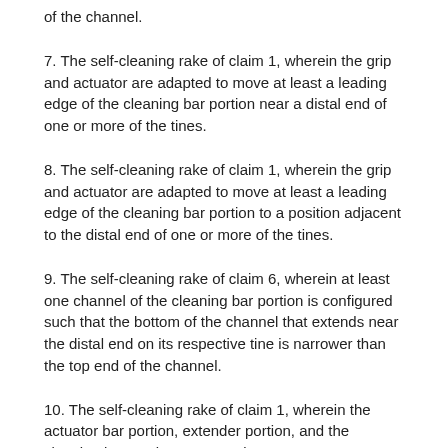of the channel.
7. The self-cleaning rake of claim 1, wherein the grip and actuator are adapted to move at least a leading edge of the cleaning bar portion near a distal end of one or more of the tines.
8. The self-cleaning rake of claim 1, wherein the grip and actuator are adapted to move at least a leading edge of the cleaning bar portion to a position adjacent to the distal end of one or more of the tines.
9. The self-cleaning rake of claim 6, wherein at least one channel of the cleaning bar portion is configured such that the bottom of the channel that extends near the distal end on its respective tine is narrower than the top end of the channel.
10. The self-cleaning rake of claim 1, wherein the actuator bar portion, extender portion, and the cleaning bar portion are one piece.
11. The self-cleaning rake of claim 1, wherein one or more of the channels of the cleaning bar portion extend a length of at least about one quarter of an inch along the tines.
12. The self-cleaning rake of claim 1, wherein the body and the actuator...